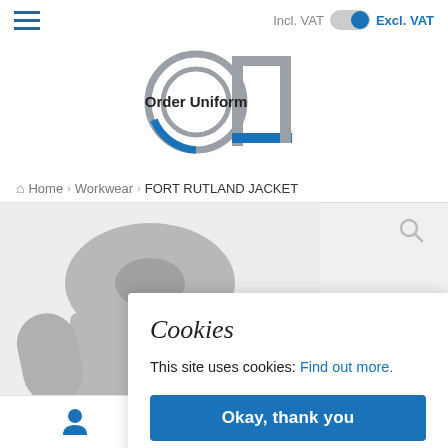[Figure (logo): Order Uniform logo with circular 'OU' graphic and 'Order Uniform' text in bold]
Incl. VAT  Excl. VAT (toggle, Excl. VAT selected)
Home › Workwear › FORT RUTLAND JACKET
[Figure (photo): Grey jacket product photo, partially visible]
Cookies
This site uses cookies: Find out more.
Okay, thank you